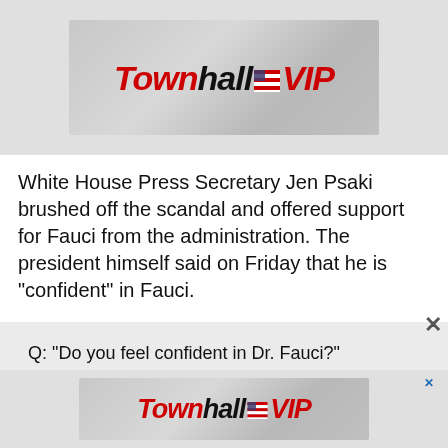[Figure (logo): Townhall VIP banner advertisement with logo on textured grey background]
White House Press Secretary Jen Psaki brushed off the scandal and offered support for Fauci from the administration. The president himself said on Friday that he is “confident” in Fauci.
Q: "Do you feel confident in Dr. Fauci?"

President Biden: "Yes, I'm very confident in Dr. Fauci." pic.twitter.com/8ybprs577f
[Figure (logo): Townhall VIP banner advertisement at bottom of page]